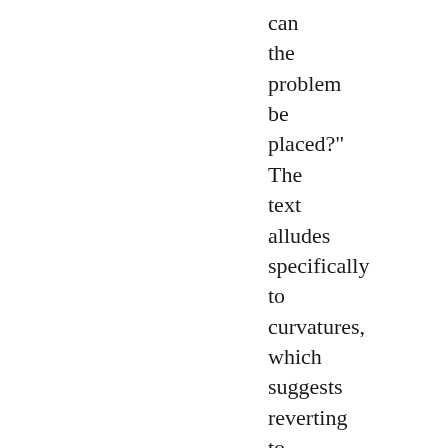can the problem be placed?" The text alludes specifically to curvatures, which suggests reverting to the theory of varieties, that is,